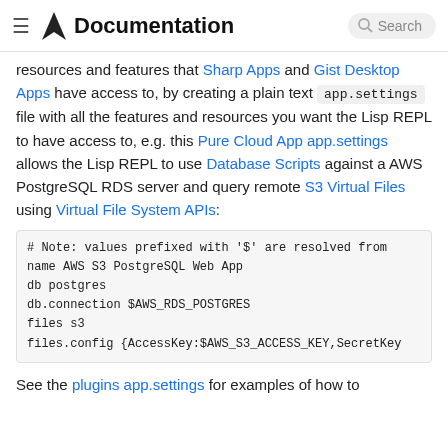Documentation — Search
resources and features that Sharp Apps and Gist Desktop Apps have access to, by creating a plain text app.settings file with all the features and resources you want the Lisp REPL to have access to, e.g. this Pure Cloud App app.settings allows the Lisp REPL to use Database Scripts against a AWS PostgreSQL RDS server and query remote S3 Virtual Files using Virtual File System APIs:
# Note: values prefixed with '$' are resolved from
name AWS S3 PostgreSQL Web App
db postgres
db.connection $AWS_RDS_POSTGRES
files s3
files.config {AccessKey:$AWS_S3_ACCESS_KEY,SecretKey
See the plugins app.settings for examples of how to